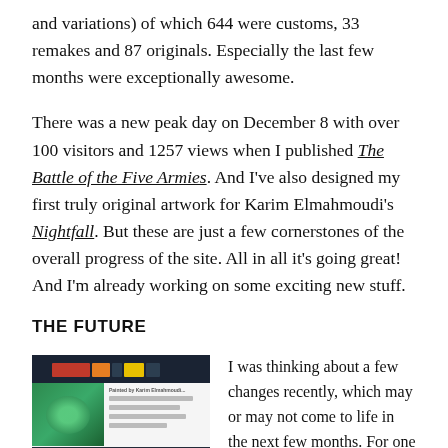and variations) of which 644 were customs, 33 remakes and 87 originals. Especially the last few months were exceptionally awesome.
There was a new peak day on December 8 with over 100 visitors and 1257 views when I published The Battle of the Five Armies. And I've also designed my first truly original artwork for Karim Elmahmoudi's Nightfall. But these are just a few cornerstones of the overall progress of the site. All in all it's going great! And I'm already working on some exciting new stuff.
THE FUTURE
[Figure (screenshot): Screenshot of a dark-themed website showing a header navigation bar, a green/teal image on the left with text on the right, and a row of thumbnail images at the bottom]
I was thinking about a few changes recently, which may or may not come to life in the next few months. For one thing I